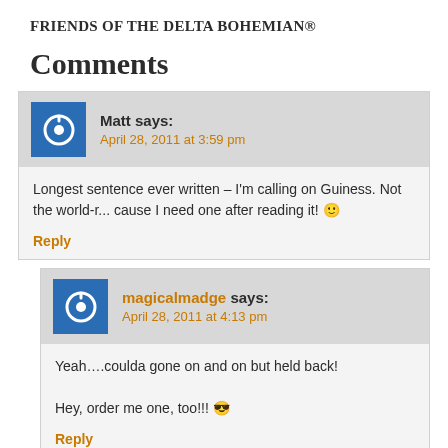FRIENDS OF THE DELTA BOHEMIAN®
Comments
Matt says:
April 28, 2011 at 3:59 pm
Longest sentence ever written – I'm calling on Guiness. Not the world-r... cause I need one after reading it! 🙂
Reply
magicalmadge says:
April 28, 2011 at 4:13 pm
Yeah….coulda gone on and on but held back!

Hey, order me one, too!!! 😎
Reply